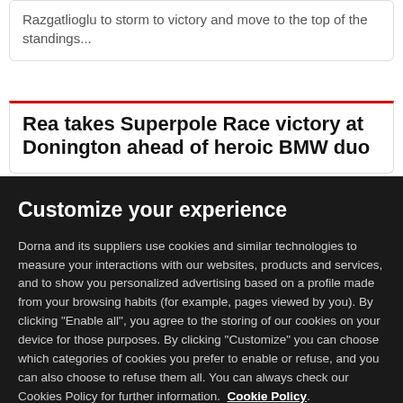Razgatlioglu to storm to victory and move to the top of the standings...
Rea takes Superpole Race victory at Donington ahead of heroic BMW duo
Customize your experience
Dorna and its suppliers use cookies and similar technologies to measure your interactions with our websites, products and services, and to show you personalized advertising based on a profile made from your browsing habits (for example, pages viewed by you). By clicking "Enable all", you agree to the storing of our cookies on your device for those purposes. By clicking "Customize" you can choose which categories of cookies you prefer to enable or refuse, and you can also choose to refuse them all. You can always check our Cookies Policy for further information. Cookie Policy.
Customize
Enable all